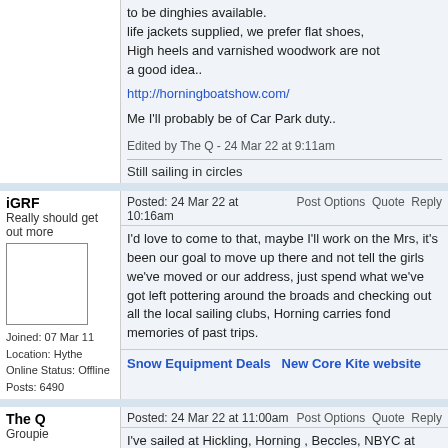to be dinghies available. life jackets supplied, we prefer flat shoes, High heels and varnished woodwork are not a good idea..
http://horningboatshow.com/
Me I'll probably be of Car Park duty..
Edited by The Q - 24 Mar 22 at 9:11am
Still sailing in circles
iGRF
Really should get out more
Joined: 07 Mar 11
Location: Hythe
Online Status: Offline
Posts: 6490
Posted: 24 Mar 22 at 10:16am   Post Options  Quote  Reply
I'd love to come to that, maybe I'll work on the Mrs, it's been our goal to move up there and not tell the girls we've moved or our address, just spend what we've got left pottering around the broads and checking out all the local sailing clubs, Horning carries fond memories of past trips.
Snow Equipment Deals    New Core Kite website
The Q
Groupie
Joined: 07 Feb 22
Location: Norfolk Broads
Online Status: Offline
Posted: 24 Mar 22 at 11:00am   Post Options  Quote  Reply
I've sailed at Hickling, Horning , Beccles, NBYC at Wroxham. I'm biased and prefer Horning, Most clubs sail in circles at their own little bit of water..